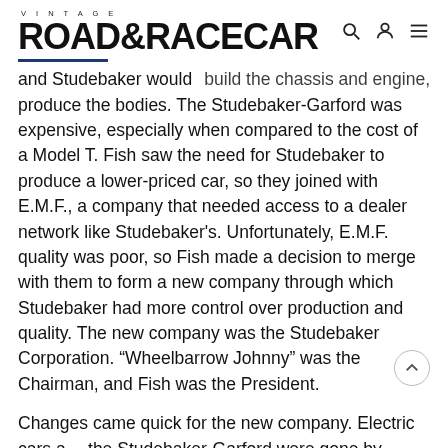VINTAGE ROAD & RACECAR
build the chassis and engine, and Studebaker would produce the bodies. The Studebaker-Garford was expensive, especially when compared to the cost of a Model T. Fish saw the need for Studebaker to produce a lower-priced car, so they joined with E.M.F., a company that needed access to a dealer network like Studebaker's. Unfortunately, E.M.F. quality was poor, so Fish made a decision to merge with them to form a new company through which Studebaker had more control over production and quality. The new company was the Studebaker Corporation. “Wheelbarrow Johnny” was the Chairman, and Fish was the President.
Changes came quick for the new company. Electric cars a… the Studebaker-Garford were gone by 1913, and Studeba… ranked fourth in sales with 24,255 cars sold. Compared to…